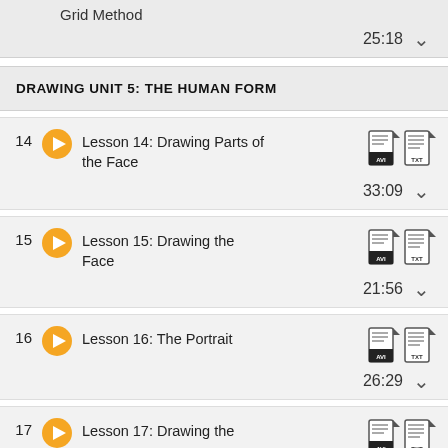Grid Method — 25:18
DRAWING UNIT 5: THE HUMAN FORM
14  Lesson 14: Drawing Parts of the Face — 33:09
15  Lesson 15: Drawing the Face — 21:56
16  Lesson 16: The Portrait — 26:29
17  Lesson 17: Drawing the